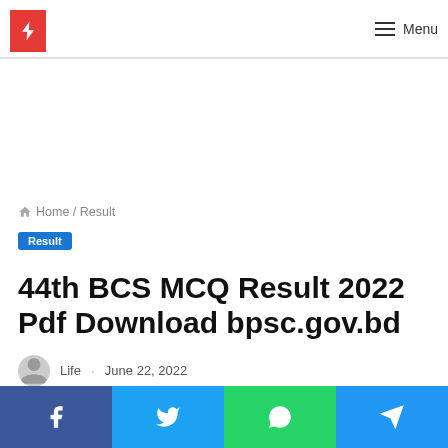Menu
Home / Result
Result
44th BCS MCQ Result 2022 Pdf Download bpsc.gov.bd
Life · June 22, 2022
Facebook Twitter WhatsApp Telegram